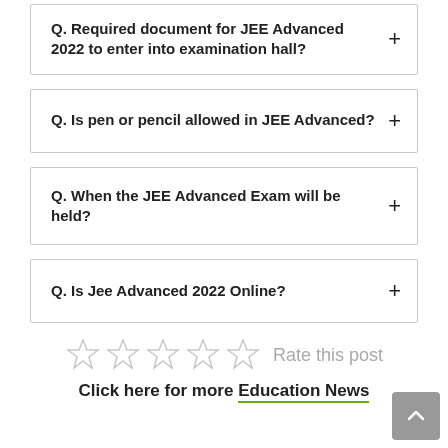Q. Required document for JEE Advanced 2022 to enter into examination hall?
Q. Is pen or pencil allowed in JEE Advanced?
Q. When the JEE Advanced Exam will be held?
Q. Is Jee Advanced 2022 Online?
Rate this post
Click here for more Education News